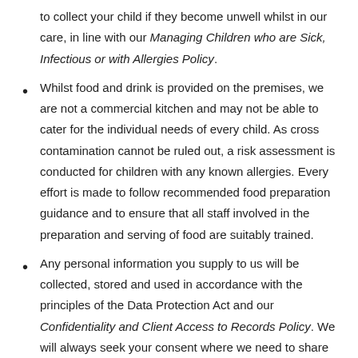to collect your child if they become unwell whilst in our care, in line with our Managing Children who are Sick, Infectious or with Allergies Policy.
Whilst food and drink is provided on the premises, we are not a commercial kitchen and may not be able to cater for the individual needs of every child. As cross contamination cannot be ruled out, a risk assessment is conducted for children with any known allergies. Every effort is made to follow recommended food preparation guidance and to ensure that all staff involved in the preparation and serving of food are suitably trained.
Any personal information you supply to us will be collected, stored and used in accordance with the principles of the Data Protection Act and our Confidentiality and Client Access to Records Policy. We will always seek your consent where we need to share information about your child with any